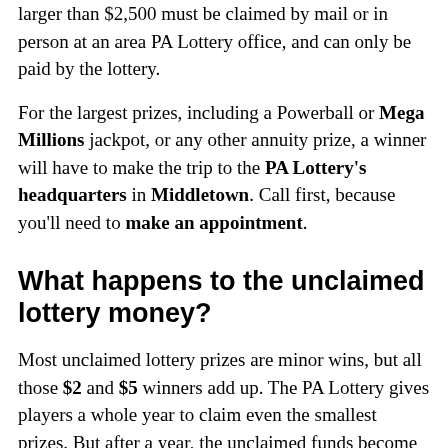larger than $2,500 must be claimed by mail or in person at an area PA Lottery office, and can only be paid by the lottery.
For the largest prizes, including a Powerball or Mega Millions jackpot, or any other annuity prize, a winner will have to make the trip to the PA Lottery's headquarters in Middletown. Call first, because you'll need to make an appointment.
What happens to the unclaimed lottery money?
Most unclaimed lottery prizes are minor wins, but all those $2 and $5 winners add up. The PA Lottery gives players a whole year to claim even the smallest prizes. But after a year, the unclaimed funds become part of the lottery's profits. Unclaimed jackpot